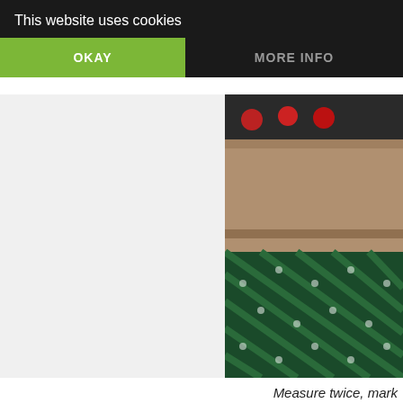This website uses cookies
OKAY
MORE INFO
[Figure (photo): Photo of a wooden plank or board with red dots/berries on top, resting on a patterned fabric (green and white diamond pattern). Dark background.]
Measure twice, mark
2. Use the pencil to mark where you want to hang the hook
3. Use the screwdriver to screw the screws that will hold the
[Figure (screenshot): Social sharing overlay with Twitter (blue bird icon), Facebook (blue f icon), Email (grey envelope icon), WhatsApp (green phone icon), SMS (blue SMS bubble icon), and another blue circle/refresh icon. A partial photo is visible on the right.]